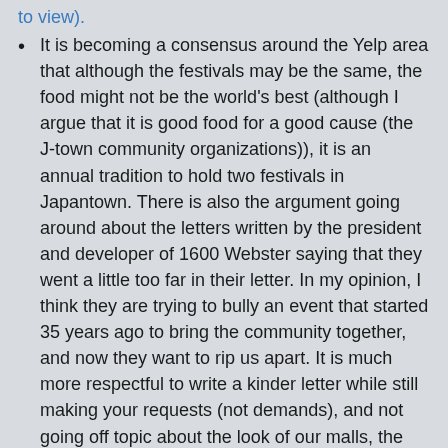It is becoming a consensus around the Yelp area that although the festivals may be the same, the food might not be the world's best (although I argue that it is good food for a good cause (the J-town community organizations)), it is an annual tradition to hold two festivals in Japantown. There is also the argument going around about the letters written by the president and developer of 1600 Webster saying that they went a little too far in their letter. In my opinion, I think they are trying to bully an event that started 35 years ago to bring the community together, and now they want to rip us apart. It is much more respectful to write a kinder letter while still making your requests (not demands), and not going off topic about the look of our malls, the food, the gifts, etc.
As for Muni, or what I like to call it, "the dumbest system on earth:"